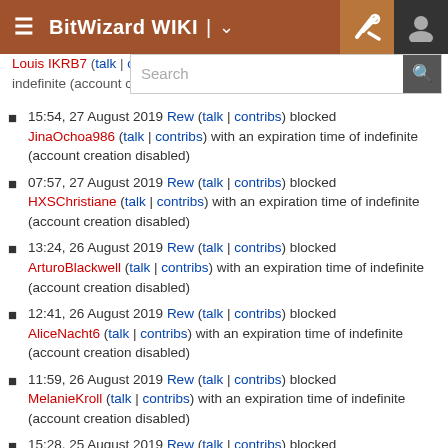BitWizard WIKI
15:54, 27 August 2019 Rew (talk | contribs) blocked JinaOchoa986 (talk | contribs) with an expiration time of indefinite (account creation disabled)
07:57, 27 August 2019 Rew (talk | contribs) blocked HXSChristiane (talk | contribs) with an expiration time of indefinite (account creation disabled)
13:24, 26 August 2019 Rew (talk | contribs) blocked ArturoBlackwell (talk | contribs) with an expiration time of indefinite (account creation disabled)
12:41, 26 August 2019 Rew (talk | contribs) blocked AliceNacht6 (talk | contribs) with an expiration time of indefinite (account creation disabled)
11:59, 26 August 2019 Rew (talk | contribs) blocked MelanieKroll (talk | contribs) with an expiration time of indefinite (account creation disabled)
15:28, 25 August 2019 Rew (talk | contribs) blocked FloreneEsefan (talk | contribs) with an expiration time of...